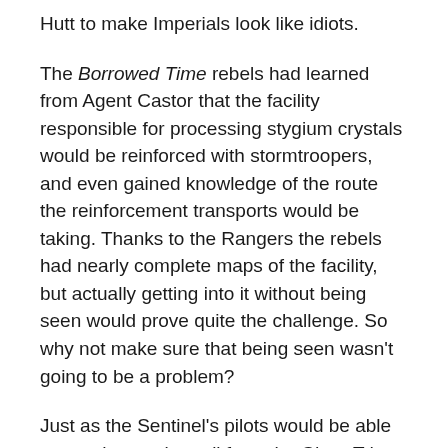Hutt to make Imperials look like idiots.
The Borrowed Time rebels had learned from Agent Castor that the facility responsible for processing stygium crystals would be reinforced with stormtroopers, and even gained knowledge of the route the reinforcement transports would be taking. Thanks to the Rangers the rebels had nearly complete maps of the facility, but actually getting into it without being seen would prove quite the challenge. So why not make sure that being seen wasn't going to be a problem?
Just as the Sentinel's pilots would be able to see the smoke trail from the Short Trip, cleverly engineered by Bas, Patience opened up a channel with his comlink and began claiming that his craft had been hit by the rebel scum while scouting out Passage. Asking for mechanical help and medical assistance